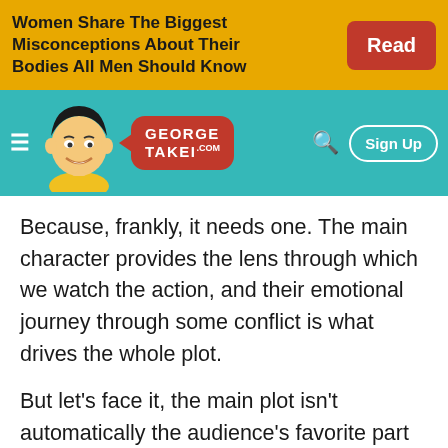[Figure (screenshot): Advertisement banner with gold/yellow background. Text reads 'Women Share The Biggest Misconceptions About Their Bodies All Men Should Know' with a red 'Read' button on the right.]
[Figure (screenshot): George Takei website navigation bar with teal background, hamburger menu, cartoon George Takei face, red speech bubble logo reading 'GEORGE TAKEI .com', search icon, and 'Sign Up' button.]
Because, frankly, it needs one. The main character provides the lens through which we watch the action, and their emotional journey through some conflict is what drives the whole plot.
But let's face it, the main plot isn't automatically the audience's favorite part of the story. Humans being humans, we love animated people full of relatable quirks and entertaining outbursts--true chara...